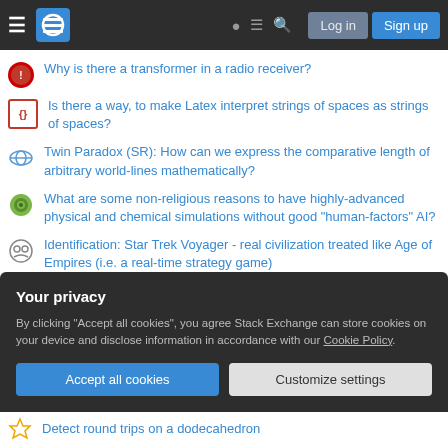Stack Exchange navigation bar with Log in and Sign up buttons
Why is there a transformer in a radio receiver?
Is there a way, to make Latex interpret strings of spaces as strings of spaces?
Twin Paradox (SR): How can we express the comparative length of arbitrary world-lines mathematically?
What are some non-religious reasons to have highly-advanced physical and chemical simulations without good "human-factors" AI?
Identification: Star Trek Voyager - real civilization treated like Age of Empires (i.e. a real-time strategy game)
What factors would contribute to a medieval era mechanical revolution?
Would a lifetime gym membership be subject to bankruptcy
Your privacy
By clicking "Accept all cookies", you agree Stack Exchange can store cookies on your device and disclose information in accordance with our Cookie Policy.
Detect round trips on a dodecahedron